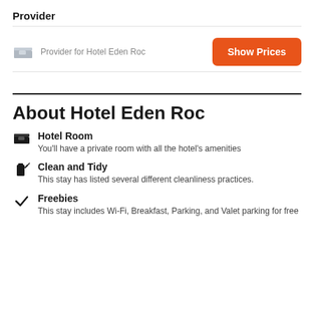Provider
Provider for Hotel Eden Roc
About Hotel Eden Roc
Hotel Room
You'll have a private room with all the hotel's amenities
Clean and Tidy
This stay has listed several different cleanliness practices.
Freebies
This stay includes Wi-Fi, Breakfast, Parking, and Valet parking for free